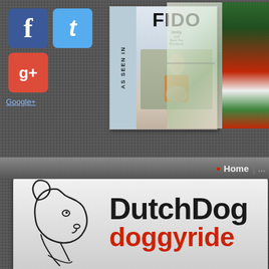[Figure (logo): Facebook icon (blue square with f letter)]
[Figure (logo): Twitter icon (light blue square with t letter)]
[Figure (logo): Google+ icon (red square with g+ letters)]
Google+
[Figure (photo): Fido magazine cover showing '100 Best Pet Products' with a woman and a dog, with 'AS SEEN IN' banner on the left side]
[Figure (photo): Christmas/holiday decorative image with tropical leaves and gift wrapping, partially cropped on right side]
[Figure (logo): DutchDog doggyride logo with outline dog head illustration on left and text 'DutchDog' in black and 'doggyride' in red]
Home
INNOVATIVE: Over 10 years ago, Dutch Dog Design and ... With user feedback and personal intrigue, we continue to ex... bike baskets, the Buddy hands-free dog leash connector, and... We continue to explore avenues for improving the quality o... line of elevated, chew-resistant, modular, design-your-own ... is expressed in our Dutch Dog Amsterdam line of eco-friendly leashes and collars showcasing one-of-a-kind v...
SOLUTION-ORIENTED DESIGN: Form follows function...